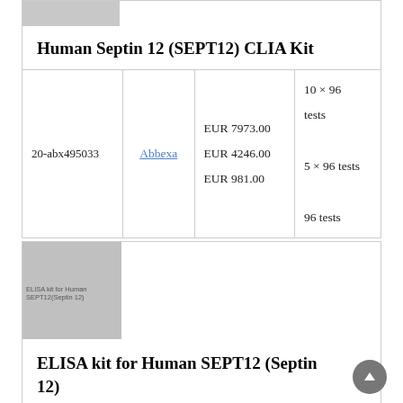[Figure (photo): Gray placeholder image at top of first product card]
Human Septin 12 (SEPT12) CLIA Kit
|  |  |  |  |
| --- | --- | --- | --- |
| 20-abx495033 | Abbexa | EUR 7973.00
EUR 4246.00
EUR 981.00 | 10 × 96 tests
5 × 96 tests
96 tests |
[Figure (photo): Gray placeholder image for ELISA kit product with label 'ELISA kit for Human SEPT12(Septin 12)']
ELISA kit for Human SEPT12 (Septin 12)